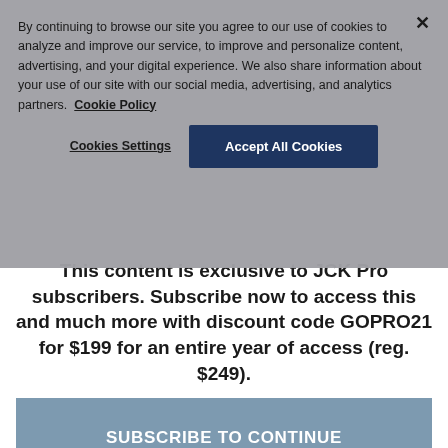By continuing to browse our site you agree to our use of cookies to analyze and improve our service, to improve and personalize content, advertising, and your digital experience. We also share information about your use of our site with our social media, advertising, and analytics partners. Cookie Policy
Cookies Settings
Accept All Cookies
This content is exclusive to JCK Pro subscribers. Subscribe now to access this and much more with discount code GOPRO21 for $199 for an entire year of access (reg. $249).
SUBSCRIBE TO CONTINUE